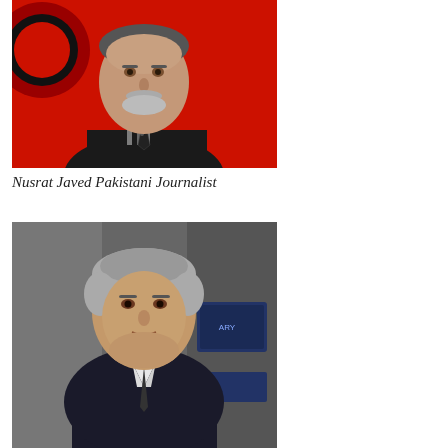[Figure (photo): Portrait photo of Nusrat Javed, an older Pakistani man with a white beard, wearing a dark suit with striped shirt and polka dot tie, against a red background with a partial circular logo.]
Nusrat Javed Pakistani Journalist
[Figure (photo): Portrait photo of a Pakistani journalist (second person), a middle-aged man with grey hair, wearing a dark suit, in what appears to be a TV studio setting with screens visible in the background.]